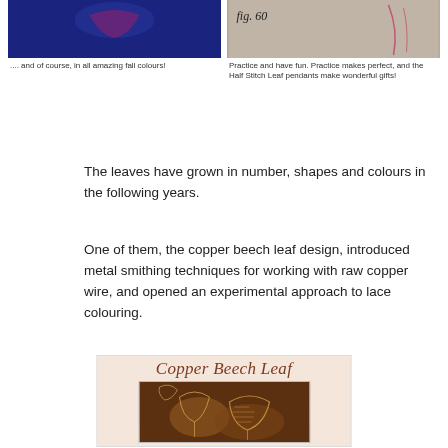[Figure (photo): Photo of lace leaf in dark blue/navy background showing fall colours]
.... and of course, in all amazing fall colours!
[Figure (photo): Photo labeled fig. 60 showing Half Stitch Leaf pendants on fabric background]
Practice and have fun. Practice makes perfect, and the Half Stitch Leaf pendants make wonderful gifts!
The leaves have grown in number, shapes and colours in the following years.
One of them, the copper beech leaf design, introduced metal smithing techniques for working with raw copper wire, and opened an experimental approach to lace colouring.
[Figure (photo): Copper Beech Leaf — title card with italic script header and photo of copper wire lace leaves on dark leaf background]